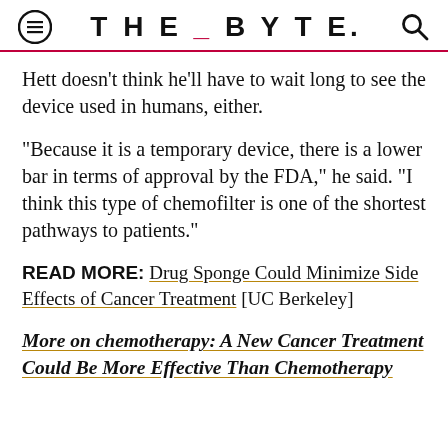THE_BYTE.
Hett doesn't think he'll have to wait long to see the device used in humans, either.
"Because it is a temporary device, there is a lower bar in terms of approval by the FDA," he said. "I think this type of chemofilter is one of the shortest pathways to patients."
READ MORE: Drug Sponge Could Minimize Side Effects of Cancer Treatment [UC Berkeley]
More on chemotherapy: A New Cancer Treatment Could Be More Effective Than Chemotherapy